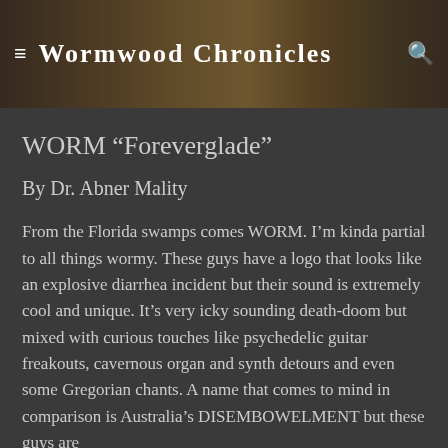≡  Wormwood Chronicles  🔍
WORM “Foreverglade”
By Dr. Abner Mality
From the Florida swamps comes WORM. I’m kinda partial to all things wormy. These guys have a logo that looks like an explosive diarrhea incident but their sound is extremely cool and unique. It’s very icky sounding death-doom but mixed with curious touches like psychedelic guitar freakouts, cavernous organ and synth detours and even some Gregorian chants. A name that comes to mind in comparison is Australia’s DISEMBOWELMENT but these guys are